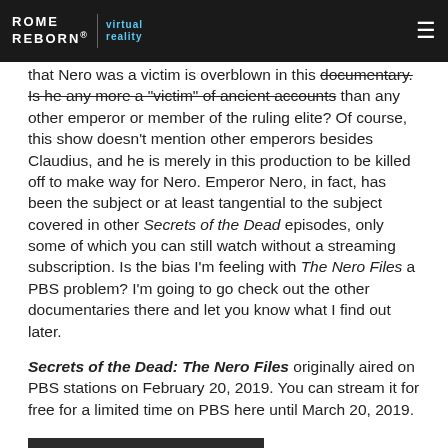ROME REBORN® virtual reality [hamburger menu]
that Nero was a victim is overblown in this documentary. Is he any more a "victim" of ancient accounts than any other emperor or member of the ruling elite? Of course, this show doesn't mention other emperors besides Claudius, and he is merely in this production to be killed off to make way for Nero. Emperor Nero, in fact, has been the subject or at least tangential to the subject covered in other Secrets of the Dead episodes, only some of which you can still watch without a streaming subscription. Is the bias I'm feeling with The Nero Files a PBS problem? I'm going to go check out the other documentaries there and let you know what I find out later.
Secrets of the Dead: The Nero Files originally aired on PBS stations on February 20, 2019. You can stream it for free for a limited time on PBS here until March 20, 2019.
JOIN THE DISCUSSION!